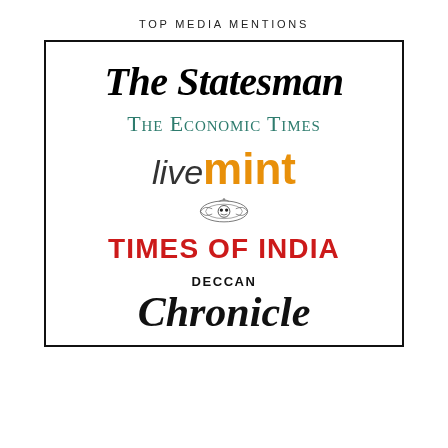TOP MEDIA MENTIONS
[Figure (illustration): Collection of newspaper/media logos in a bordered box: The Statesman, The Economic Times, livemint, Times of India (with emblem), Deccan Chronicle]